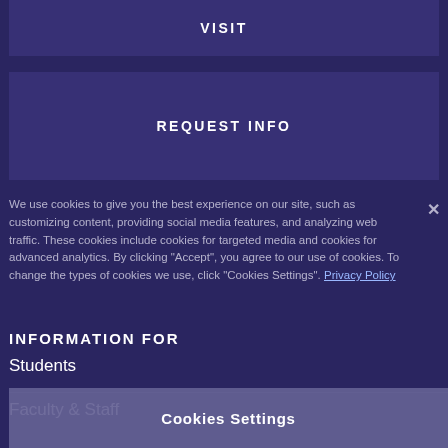VISIT
REQUEST INFO
We use cookies to give you the best experience on our site, such as customizing content, providing social media features, and analyzing web traffic. These cookies include cookies for targeted media and cookies for advanced analytics. By clicking "Accept", you agree to our use of cookies. To change the types of cookies we use, click "Cookies Settings". Privacy Policy
INFORMATION FOR
Students
Faculty & Staff
Cookies Settings
Families
Reject All
Alumni
Accept All Cookies
Educators